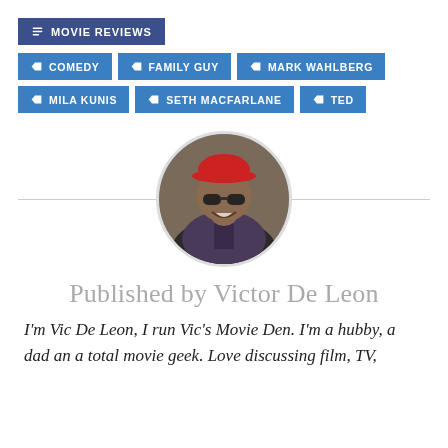MOVIE REVIEWS
COMEDY
FAMILY GUY
MARK WAHLBERG
MILA KUNIS
SETH MACFARLANE
TED
[Figure (photo): Circular profile photo of Victor De Leon, a man wearing sunglasses and a red baseball cap, smiling]
Published by Victor De Leon
I'm Vic De Leon, I run Vic's Movie Den. I'm a hubby, a dad an a total movie geek. Love discussing film, TV,